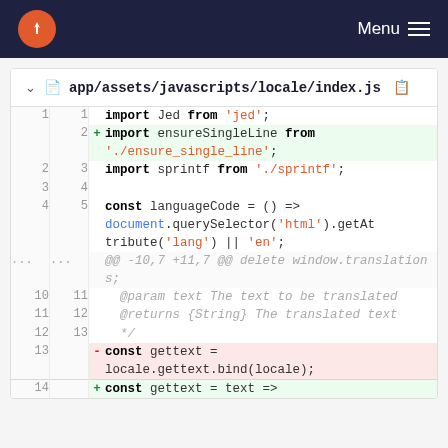Menu
app/assets/javascripts/locale/index.js
[Figure (screenshot): Code diff view showing app/assets/javascripts/locale/index.js with added import for ensureSingleLine, and replaced gettext const with text => version]